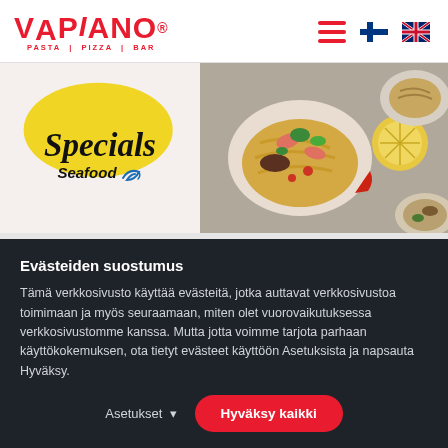VAPIANO® PASTA | PIZZA | BAR
[Figure (photo): Specials Seafood banner with food photo showing pasta and seafood dishes]
Evästeiden suostumus
Tämä verkkosivusto käyttää evästeitä, jotka auttavat verkkosivustoa toimimaan ja myös seuraamaan, miten olet vuorovaikutuksessa verkkosivustomme kanssa. Mutta jotta voimme tarjota parhaan käyttökokemuksen, ota tietyt evästeet käyttöön Asetuksista ja napsauta Hyväksy.
Asetukset   Hyväksy kaikki